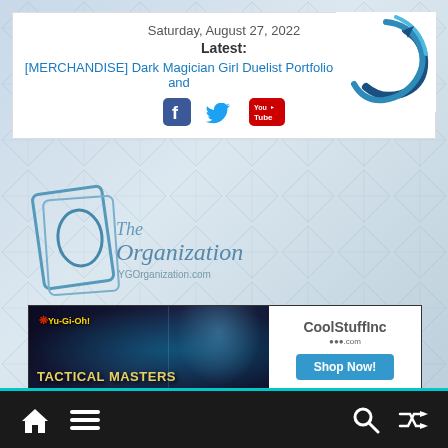Saturday, August 27, 2022
Latest:
[MERCHANDISE] Dark Magician Girl Duelist Portfolio and
[Figure (logo): YGOrganization logo — circular arrow symbol and 'TheOrganization YGOrganization.com' text]
[Figure (infographic): Yu-Gi-Oh! Tactical Masters banner ad with CoolStuffInc Shop Now button]
[Figure (other): Bottom navigation bar with home, menu, search, and shuffle icons]